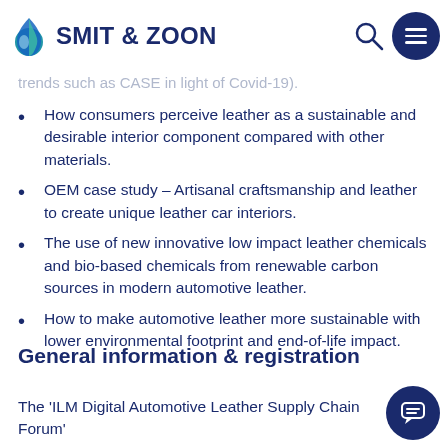SMIT & ZOON
Growth projections, opportunities and key automotive other stakeholders (e.g. new demands on hygiene and sanitation / changing major trends such as CASE in light of Covid-19).
How consumers perceive leather as a sustainable and desirable interior component compared with other materials.
OEM case study – Artisanal craftsmanship and leather to create unique leather car interiors.
The use of new innovative low impact leather chemicals and bio-based chemicals from renewable carbon sources in modern automotive leather.
How to make automotive leather more sustainable with lower environmental footprint and end-of-life impact.
General information & registration
The 'ILM Digital Automotive Leather Supply Chain Forum'